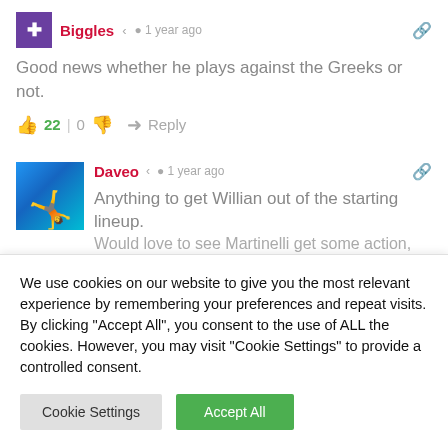Biggles · 1 year ago
Good news whether he plays against the Greeks or not.
22 | 0   Reply
Daveo · 1 year ago
Anything to get Willian out of the starting lineup. Would love to see Martinelli get some action, but
We use cookies on our website to give you the most relevant experience by remembering your preferences and repeat visits. By clicking "Accept All", you consent to the use of ALL the cookies. However, you may visit "Cookie Settings" to provide a controlled consent.